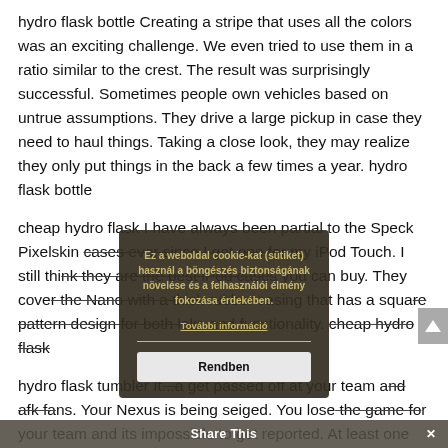hydro flask bottle Creating a stripe that uses all the colors was an exciting challenge. We even tried to use them in a ratio similar to the crest. The result was surprisingly successful. Sometimes people own vehicles based on untrue assumptions. They drive a large pickup in case they need to haul things. Taking a close look, they may realize they only put things in the back a few times a year. hydro flask bottle
cheap hydro flask I have always been partial to the Speck Pixelskin cases ever since I got one for my iPod Touch. I still think they are the best iPod cases you can buy. They cover the Nano with a thick rubber casing that has a square pattern design for both looks and functionality. cheap hydro flask
hydro flask tumbler It can get passed off at your team and afk fans. Your Nexus is being seiged. You lose the game for your team and its impossible to get reported. At least one person will pull
[Figure (screenshot): Cookie consent overlay in Hungarian reading: 'Ez a weboldal cookie-kat (sütiket) használ a böngészés biztonságának növelése és a felhasználói élmény fokozása érdekében.' with 'További információ' link and 'Rendben' button]
[Figure (screenshot): Share This bar at the bottom of the page with a close (x) button]